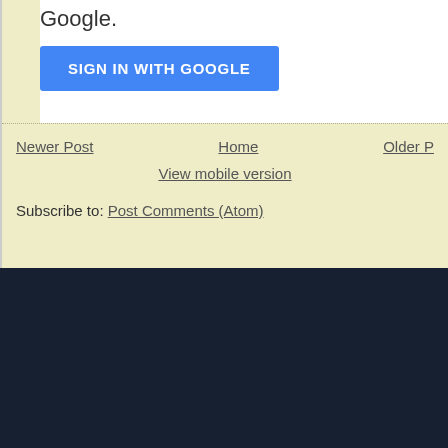Google.
SIGN IN WITH GOOGLE
Newer Post
Home
Older P
View mobile version
Subscribe to: Post Comments (Atom)